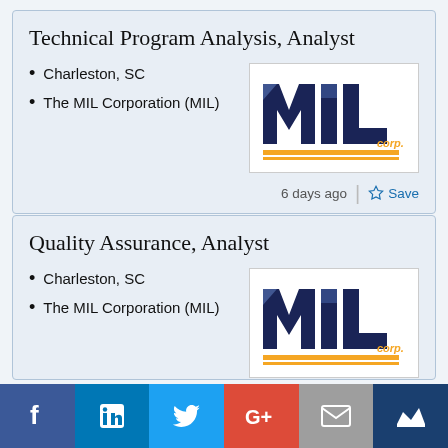Technical Program Analysis, Analyst
Charleston, SC
The MIL Corporation (MIL)
[Figure (logo): MIL Corp logo — dark navy letters MIL with orange underline and 'corp.' in orange]
6 days ago  |  ☆ Save
Quality Assurance, Analyst
Charleston, SC
The MIL Corporation (MIL)
[Figure (logo): MIL Corp logo — dark navy letters MIL with orange underline and 'corp.' in orange]
[Figure (infographic): Social sharing bar with Facebook, LinkedIn, Twitter, Google+, Email, and Crown icons]